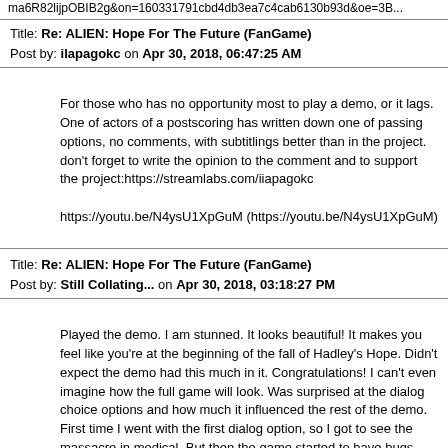ma6R82lijpOBIB2g&on=160331791cbd4db3ea7c4cab6130b93d&oe=3B...
Title: Re: ALIEN: Hope For The Future (FanGame)
Post by: ilapagokc on Apr 30, 2018, 06:47:25 AM
For those who has no opportunity most to play a demo, or it lags. One of actors of a postscoring has written down one of passing options, no comments, with subtitlings better than in the project.
don't forget to write the opinion to the comment and to support the project:https://streamlabs.com/iiapagokc

https://youtu.be/N4ysU1XpGuM (https://youtu.be/N4ysU1XpGuM)
Title: Re: ALIEN: Hope For The Future (FanGame)
Post by: Still Collating... on Apr 30, 2018, 03:18:27 PM
Played the demo. I am stunned. It looks beautiful! It makes you feel like you're at the beginning of the fall of Hadley's Hope. Didn't expect the demo had this much in it. Congratulations! I can't even imagine how the full game will look. Was surprised at the dialog choice options and how much it influenced the rest of the demo.
First time I went with the first dialog option, so I got to see the massacre in medical. But then the game started to have bugs and when I left medical, it locked me out, I couldn't get back in. I also couldn't find a way to get to Mr. Phillips' computer. Then it started to get difficult to walk through doors, I could only do it when I crouched. Then finally, my body somehow stretched and I became taller. I literally couldn't get through the doors anymore. I had been playing the